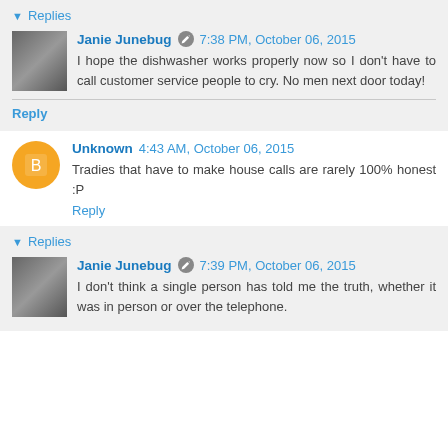▼ Replies
Janie Junebug  7:38 PM, October 06, 2015
I hope the dishwasher works properly now so I don't have to call customer service people to cry. No men next door today!
Reply
Unknown  4:43 AM, October 06, 2015
Tradies that have to make house calls are rarely 100% honest :P
Reply
▼ Replies
Janie Junebug  7:39 PM, October 06, 2015
I don't think a single person has told me the truth, whether it was in person or over the telephone.